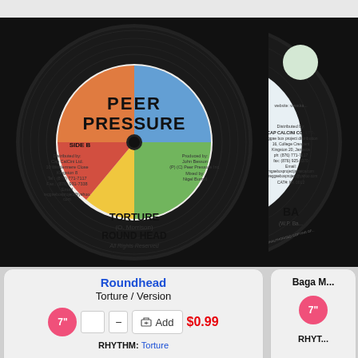[Figure (photo): Vinyl record with Peer Pressure label, Side B, showing TORTURE by ROUND HEAD]
[Figure (photo): Partial vinyl record with label showing CAP CALCINI CO. LTD distribution info, partially cropped]
Roundhead
Torture / Version
7" Add $0.99
RHYTHM: Torture
Baga M...
7"
RHYT...